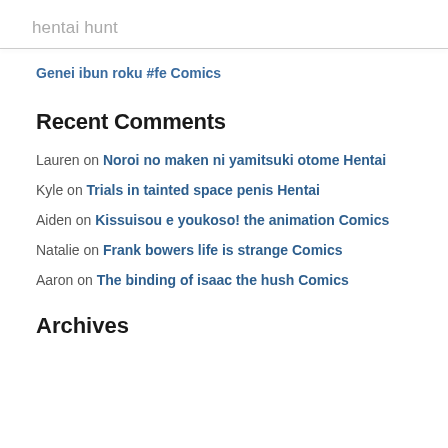hentai hunt
Genei ibun roku #fe Comics
Recent Comments
Lauren on Noroi no maken ni yamitsuki otome Hentai
Kyle on Trials in tainted space penis Hentai
Aiden on Kissuisou e youkoso! the animation Comics
Natalie on Frank bowers life is strange Comics
Aaron on The binding of isaac the hush Comics
Archives